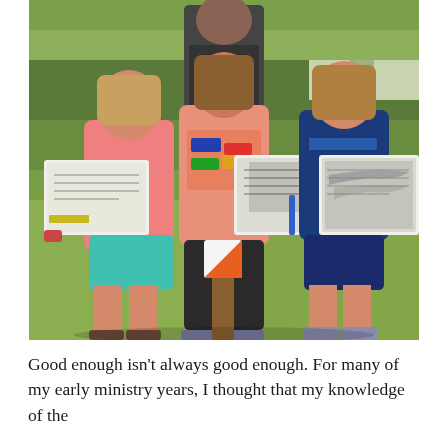[Figure (photo): Three children standing outdoors in a grassy area near a wooden post with an orienteering marker. An adult is visible behind them. The two girls on the left and right are holding orienteering maps/scorecards. The middle girl in a peach sleeveless top is also holding a map. The girl on the left wears a pink shirt and teal shorts; the girl on the right wears a navy shirt and navy shorts.]
Good enough isn't always good enough. For many of my early ministry years, I thought that my knowledge of the